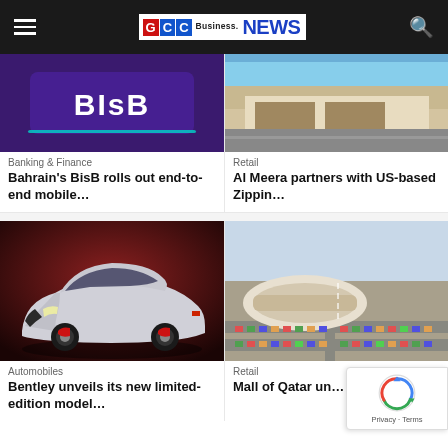GCC Business NEWS
[Figure (photo): BisB bank signage with purple background]
Banking & Finance
Bahrain's BisB rolls out end-to-end mobile...
[Figure (photo): Al Meera retail store exterior]
Retail
Al Meera partners with US-based Zippin...
[Figure (photo): Bentley luxury car silver limited edition model]
Automobiles
Bentley unveils its new limited-edition model...
[Figure (photo): Aerial view of Mall of Qatar]
Retail
Mall of Qatar un... with Qatar...